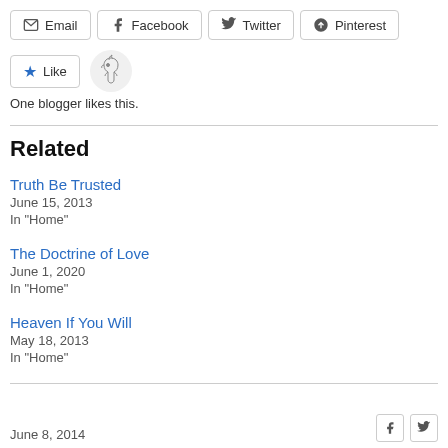Email
Facebook
Twitter
Pinterest
[Figure (illustration): Like button with blue star and horse avatar illustration]
One blogger likes this.
Related
Truth Be Trusted
June 15, 2013
In "Home"
The Doctrine of Love
June 1, 2020
In "Home"
Heaven If You Will
May 18, 2013
In "Home"
June 8, 2014